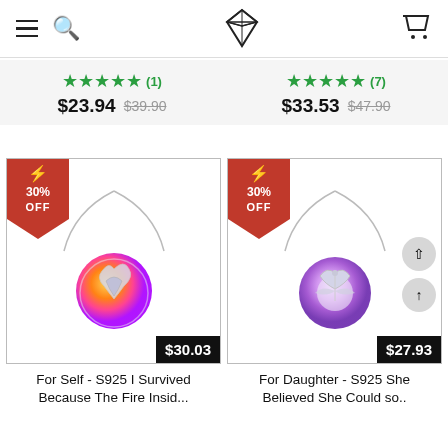Navigation bar with menu, search, logo, and cart icons
★★★★★ (1)  $23.94  $39.90
★★★★★ (7)  $33.53  $47.90
[Figure (photo): Necklace product: For Self - S925 I Survived Because The Fire Insid... Price $30.03, 30% OFF badge]
[Figure (photo): Necklace product: For Daughter - S925 She Believed She Could so.. Price $27.93, 30% OFF badge]
For Self - S925 I Survived Because The Fire Insid...
For Daughter - S925 She Believed She Could so..